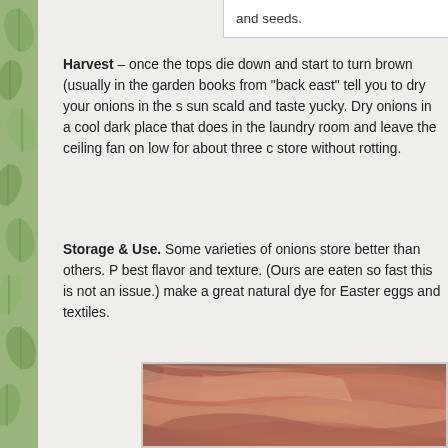and seeds.
Harvest – once the tops die down and start to turn brown (usually in the garden books from "back east" tell you to dry your onions in the s sun scald and taste yucky. Dry onions in a cool dark place that does in the laundry room and leave the ceiling fan on low for about three c store without rotting.
Storage & Use. Some varieties of onions store better than others. P best flavor and texture. (Ours are eaten so fast this is not an issue.) make a great natural dye for Easter eggs and textiles.
[Figure (photo): Close-up photograph of dried onion skins, showing papery reddish-brown layers piled together.]